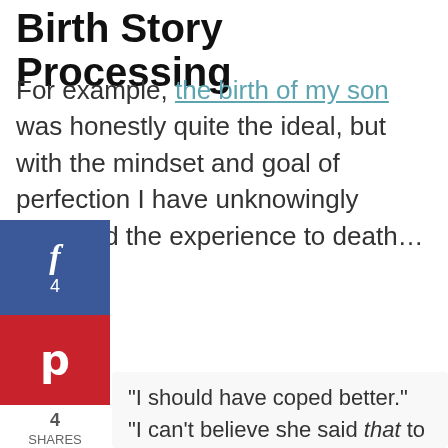Birth Story Processing
For example, the birth of my son was honestly quite the ideal, but with the mindset and goal of perfection I have unknowingly nitpicked the experience to death…
"I should have coped better."
"I can't believe she said that to me. That was so insensitive."
and
"Next time I should do it this way,